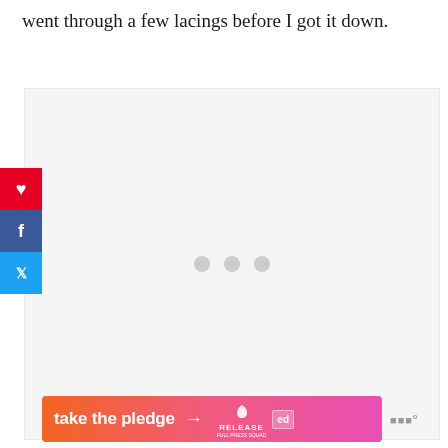went through a few lacings before I got it down.
[Figure (screenshot): A large placeholder/loading ad box with light gray background and three gray loading dots centered, overlaid with social share buttons (Pinterest, Facebook, Twitter) on the left side.]
[Figure (infographic): Advertisement banner with orange-to-pink gradient reading 'take the pledge' with an arrow, followed by Release logo and Mediavine logo badges.]